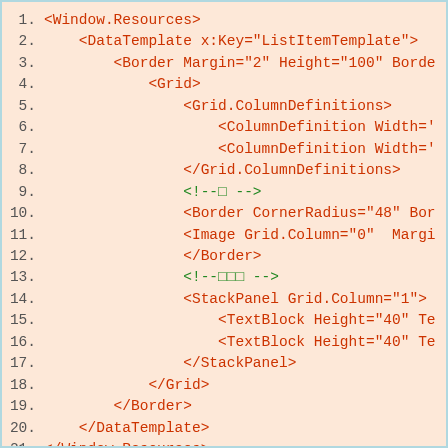[Figure (screenshot): Code listing showing XAML markup with line numbers 1-21, displaying Window.Resources and DataTemplate definitions with Border, Grid, ColumnDefinitions, Image, StackPanel, and TextBlock elements. Background is salmon/peach color with red code text and green comment text.]